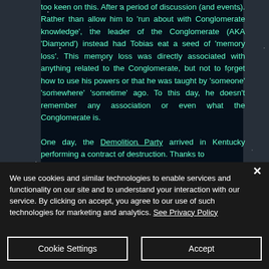too keen on this. After a period of discussion (and events). Rather than allow him to 'run about with Conglomerate knowledge', the leader of the Conglomerate (AKA 'Diamond') instead had Tobias eat a seed of 'memory loss'. This memory loss was directly associated with anything related to the Conglomerate, but not to forget how to use his powers or that he was taught by 'someone' 'somewhere' 'sometime' ago. To this day, he doesn't remember any association or even what the Conglomerate is.

One day, the Demolition Party arrived in Kentucky performing a contract of destruction. Thanks to
We use cookies and similar technologies to enable services and functionality on our site and to understand your interaction with our service. By clicking on accept, you agree to our use of such technologies for marketing and analytics. See Privacy Policy
Cookie Settings
Accept